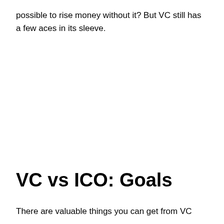possible to rise money without it? But VC still has a few aces in its sleeve.
VC vs ICO: Goals
There are valuable things you can get from VC